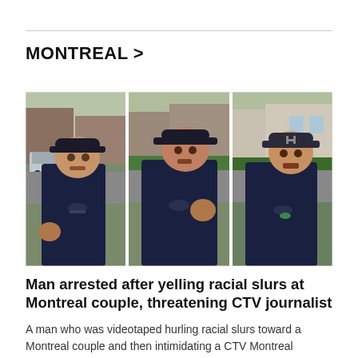MONTREAL >
[Figure (photo): Three side-by-side video stills showing a man in a dark navy T-shirt and black baseball cap in confrontational poses on a residential street.]
Man arrested after yelling racial slurs at Montreal couple, threatening CTV journalist
A man who was videotaped hurling racial slurs toward a Montreal couple and then intimidating a CTV Montreal